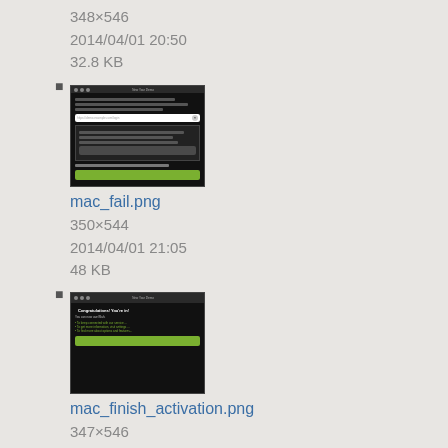348×546
2014/04/01 20:50
32.8 KB
[Figure (screenshot): Screenshot thumbnail of a Mac application window with dark background showing a dialog/modal with text input and buttons]
mac_fail.png
350×544
2014/04/01 21:05
48 KB
[Figure (screenshot): Screenshot thumbnail of a Mac application showing 'Congratulations! You're in!' message with green button on dark background]
mac_finish_activation.png
347×546
2014/04/01 20:50
40.1 KB
[Figure (screenshot): Screenshot thumbnail of a Mac application window, partial view]